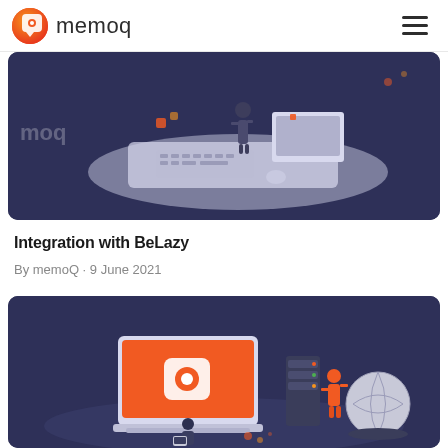memoq
[Figure (illustration): Isometric illustration of a person standing on a desk with keyboard and computer monitors, on a dark navy background with memoq watermark text visible]
Integration with BeLazy
By memoQ · 9 June 2021
[Figure (illustration): Isometric illustration of a laptop with orange memoq logo on screen, server stacks, a person in orange interacting with a globe/brain sphere, and another person with a laptop, on dark navy background]